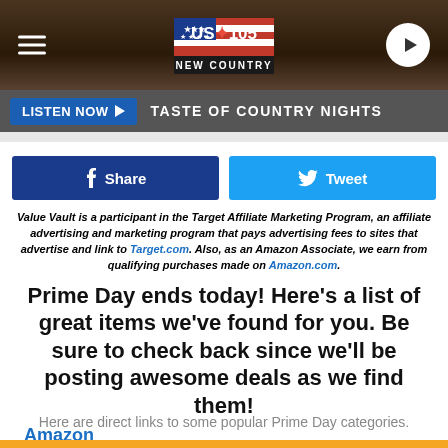US 105 New Country — LISTEN NOW ▶ TASTE OF COUNTRY NIGHTS
[Figure (logo): US 105 New Country logo with American flag design]
Share
Tweet
Value Vault is a participant in the Target Affiliate Marketing Program, an affiliate advertising and marketing program that pays advertising fees to sites that advertise and link to Target.com. Also, as an Amazon Associate, we earn from qualifying purchases made on Amazon.com.
Prime Day ends today! Here's a list of great items we've found for you. Be sure to check back since we'll be posting awesome deals as we find them!
Amazon
Here are direct links to some popular Prime Day categories.